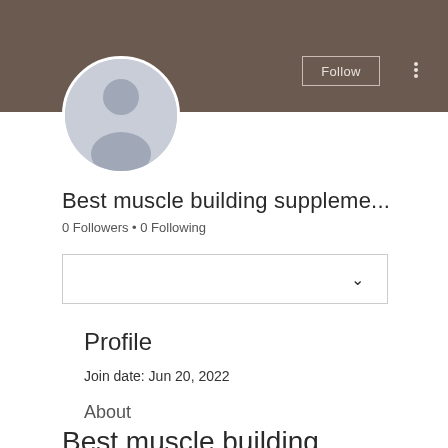[Figure (screenshot): Social media profile page screenshot showing a user profile with brown header banner, avatar placeholder, username 'Best muscle building suppleme...', follower counts, dropdown, and profile section]
Best muscle building suppleme...
0 Followers • 0 Following
Profile
Join date: Jun 20, 2022
About
Best muscle building